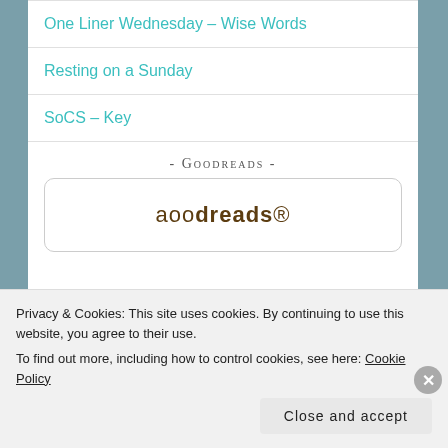One Liner Wednesday – Wise Words
Resting on a Sunday
SoCS – Key
- Goodreads -
[Figure (logo): Goodreads widget box with goodreads logo text]
Privacy & Cookies: This site uses cookies. By continuing to use this website, you agree to their use.
To find out more, including how to control cookies, see here: Cookie Policy
Close and accept